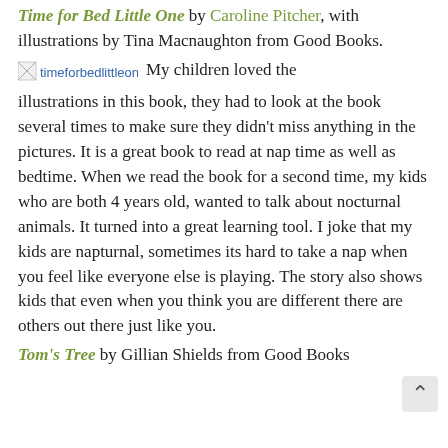Time for Bed Little One by Caroline Pitcher, with illustrations by Tina Macnaughton from Good Books.
[Figure (photo): Broken image placeholder labeled 'timeforbedlittleone']
My children loved the illustrations in this book, they had to look at the book several times to make sure they didn't miss anything in the pictures. It is a great book to read at nap time as well as bedtime. When we read the book for a second time, my kids who are both 4 years old, wanted to talk about nocturnal animals. It turned into a great learning tool. I joke that my kids are napturnal, sometimes its hard to take a nap when you feel like everyone else is playing. The story also shows kids that even when you think you are different there are others out there just like you.
Tom's Tree by Gillian Shields from Good Books